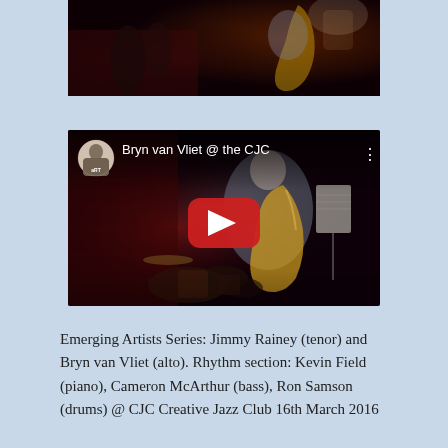[Figure (photo): Partial photo at top showing jazz musicians on stage, dark background with warm lighting, saxophone player visible at right]
[Figure (screenshot): YouTube video embed showing 'Bryn van Vliet @ the CJC' with a jazz performance thumbnail, saxophonist visible on right side of frame, red YouTube play button overlay, channel avatar and title bar at top]
Emerging Artists Series: Jimmy Rainey (tenor) and Bryn van Vliet (alto). Rhythm section: Kevin Field (piano), Cameron McArthur (bass), Ron Samson (drums) @ CJC Creative Jazz Club 16th March 2016